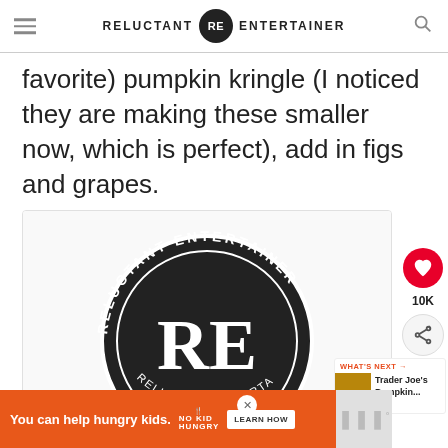RELUCTANT RE ENTERTAINER
favorite) pumpkin kringle (I noticed they are making these smaller now, which is perfect), add in figs and grapes.
[Figure (logo): Reluctant Entertainer circular logo with RE monogram in center on black background, text reading RELUCTANT ENTERTAINER around the circle]
[Figure (infographic): Like button (red heart circle), 10K count, share button]
[Figure (infographic): What's Next section with Trader Joe's Pumpkin... article link and thumbnail]
[Figure (infographic): Advertisement banner: You can help hungry kids. No Kid Hungry. LEARN HOW]